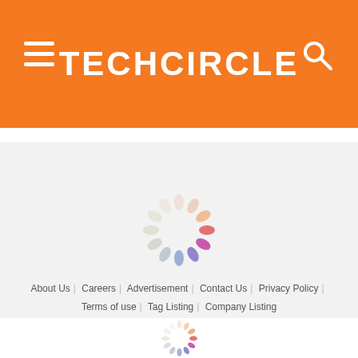TECHCIRCLE
[Figure (other): Loading spinner animation in gray section]
[Figure (other): Social media icons: Facebook, Twitter, LinkedIn in orange circles]
About Us | Careers | Advertisement | Contact Us | Privacy Policy | Terms of use | Tag Listing | Company Listing
[Figure (other): Loading spinner animation at bottom of page]